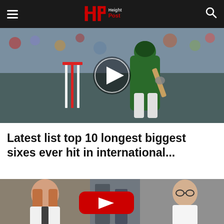HP Height Post
[Figure (photo): Cricket player in green uniform batting, with stumps visible, crowd in background. Play button overlay in center.]
Latest list top 10 longest biggest sixes ever hit in international...
[Figure (photo): A woman with long red hair and a man with glasses standing outdoors with a city building behind them. YouTube play button overlay in center.]